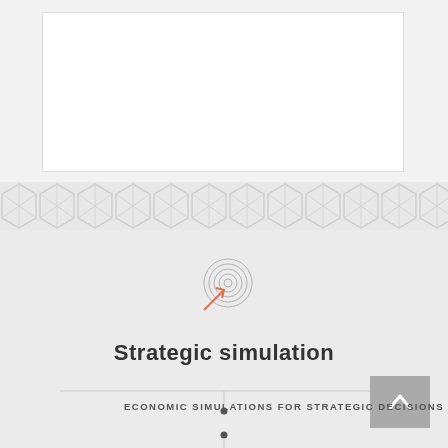[Figure (illustration): White rectangular box with light border on gray background — top content placeholder]
[Figure (illustration): Horizontal decorative band of repeating hexagon/snowflake geometric pattern in light gray on slightly darker gray background]
[Figure (illustration): Target/radar icon with concentric arcs and an orange arrow pointing to center, drawn in thin gray lines on light gray background]
Strategic simulation
[Figure (schematic): Horizontal thin gray line with a vertical tick mark and small filled circle dot below center, and a gray up-arrow button on the right]
ECONOMIC SIMULATIONS FOR STRATEGIC DECISIONS
[Figure (schematic): Small filled circle dot with vertical line extending down, partially visible at bottom of page]